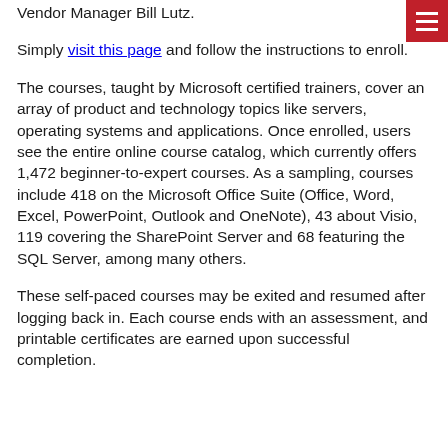Vendor Manager Bill Lutz.
Simply visit this page and follow the instructions to enroll.
The courses, taught by Microsoft certified trainers, cover an array of product and technology topics like servers, operating systems and applications. Once enrolled, users see the entire online course catalog, which currently offers 1,472 beginner-to-expert courses. As a sampling, courses include 418 on the Microsoft Office Suite (Office, Word, Excel, PowerPoint, Outlook and OneNote), 43 about Visio, 119 covering the SharePoint Server and 68 featuring the SQL Server, among many others.
These self-paced courses may be exited and resumed after logging back in. Each course ends with an assessment, and printable certificates are earned upon successful completion.